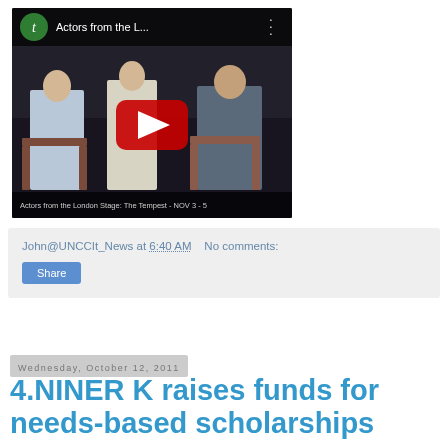[Figure (screenshot): YouTube video thumbnail showing three men seated on stage, titled 'Actors from the L...' with a red play button overlay. Caption at bottom: 'Actors from the London Stage: The Tempest - NOV 3 - 5']
John@UNCClt_News at 6:40 AM   No comments:
Share
Wednesday, October 12, 2011
4.NINER K raises funds for needs-based scholarships